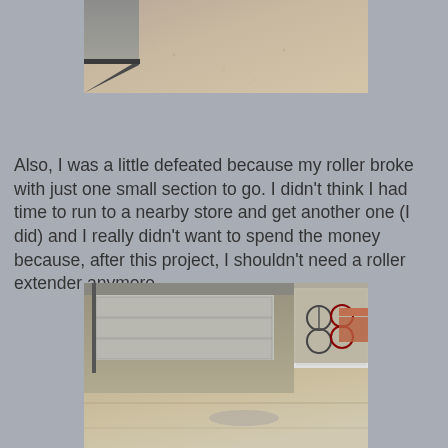[Figure (photo): Close-up photo of a concrete/cement floor surface near a wall, showing texture and slight discoloration]
Also, I was a little defeated because my roller broke with just one small section to go.  I didn't think I had time to run to a nearby store and get another one (I did) and I really didn't want to spend the money because, after this project, I shouldn't need a roller extender anymore.
[Figure (photo): Photo of a garage interior showing a coated concrete floor, garage door, bicycles hanging on the wall, and shelving with items on the right side]